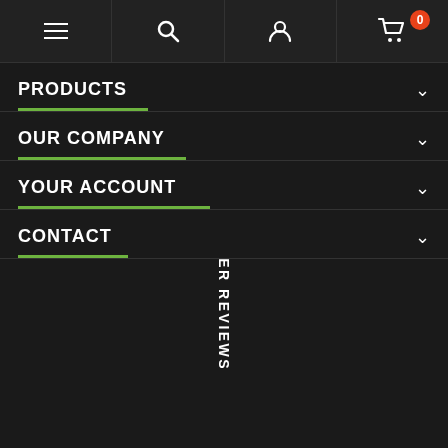[Figure (screenshot): Mobile navigation bar with hamburger menu, search, account, and cart icons (cart shows badge 0)]
PRODUCTS
OUR COMPANY
YOUR ACCOUNT
CONTACT
CUSTOMER REVIEWS